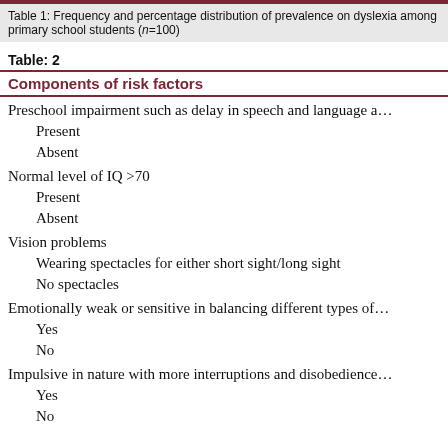Table 1: Frequency and percentage distribution of prevalence on dyslexia among primary school students (n=100)
Table: 2
| Components of risk factors |
| --- |
| Preschool impairment such as delay in speech and language a… |
| Present |
| Absent |
| Normal level of IQ >70 |
| Present |
| Absent |
| Vision problems |
| Wearing spectacles for either short sight/long sight |
| No spectacles |
| Emotionally weak or sensitive in balancing different types of… |
| Yes |
| No |
| Impulsive in nature with more interruptions and disobedience… |
| Yes |
| No |